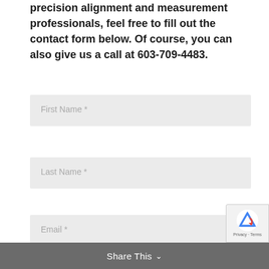precision alignment and measurement professionals, feel free to fill out the contact form below. Of course, you can also give us a call at 603-709-4483.
First Name *
Last Name *
Email *
Phone
Share This ∨